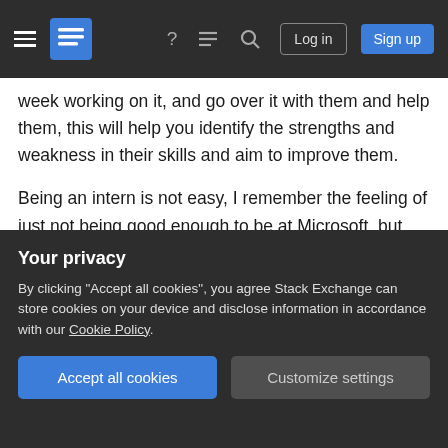Stack Exchange navigation bar with hamburger menu, logo, help, chat, search icons, Log in and Sign up buttons
week working on it, and go over it with them and help them, this will help you identify the strengths and weakness in their skills and aim to improve them.
Being an intern is not easy, I remember the feeling of just not being good enough to be at Microsoft, but they made me feel very welcome and didnt laugh when I asked easy questions.
Put a proper plan for them in motion and make it fun get involved with them all the way, as I said having a
Your privacy
By clicking "Accept all cookies", you agree Stack Exchange can store cookies on your device and disclose information in accordance with our Cookie Policy.
Accept all cookies  Customize settings
technology and if they are working poorly aim to